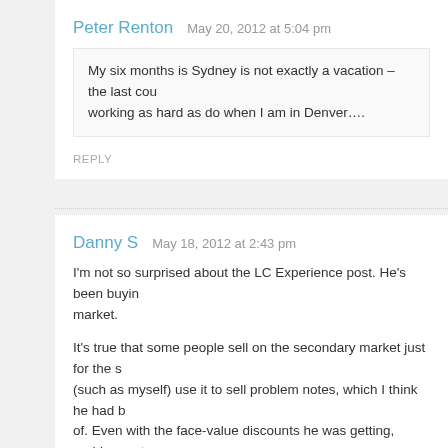Peter Renton   May 20, 2012 at 5:04 pm
My six months is Sydney is not exactly a vacation – the last cou working as hard as do when I am in Denver….
REPLY
Danny S   May 18, 2012 at 2:43 pm
I'm not so surprised about the LC Experience post. He's been buyin market.
It's true that some people sell on the secondary market just for the s (such as myself) use it to sell problem notes, which I think he had b of. Even with the face-value discounts he was getting, problem note percentage of them eventually go into default/charged off status.
REPLY